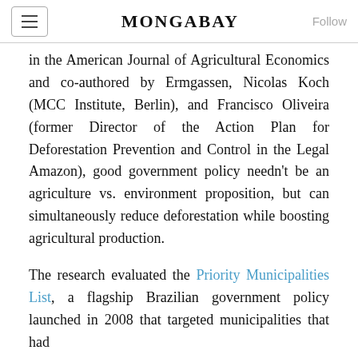MONGABAY
in the American Journal of Agricultural Economics and co-authored by Ermgassen, Nicolas Koch (MCC Institute, Berlin), and Francisco Oliveira (former Director of the Action Plan for Deforestation Prevention and Control in the Legal Amazon), good government policy needn't be an agriculture vs. environment proposition, but can simultaneously reduce deforestation while boosting agricultural production.
The research evaluated the Priority Municipalities List, a flagship Brazilian government policy launched in 2008 that targeted municipalities that had